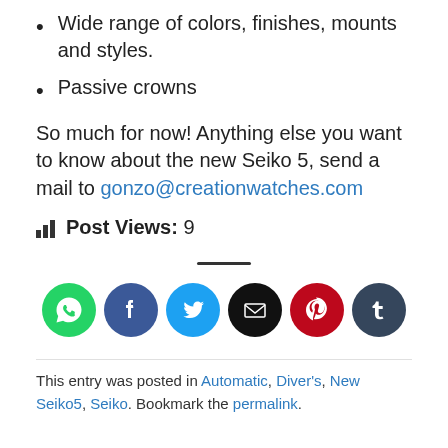Wide range of colors, finishes, mounts and styles.
Passive crowns
So much for now! Anything else you want to know about the new Seiko 5, send a mail to gonzo@creationwatches.com
Post Views: 9
[Figure (infographic): Row of six social sharing icon buttons: WhatsApp (green), Facebook (dark blue), Twitter (blue), Email (black), Pinterest (red), Tumblr (dark slate blue)]
This entry was posted in Automatic, Diver's, New Seiko5, Seiko. Bookmark the permalink.